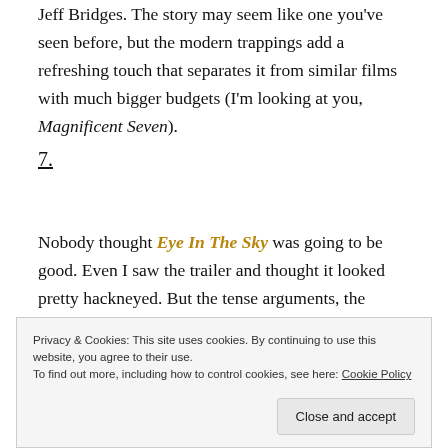Jeff Bridges. The story may seem like one you've seen before, but the modern trappings add a refreshing touch that separates it from similar films with much bigger budgets (I'm looking at you, Magnificent Seven).
7.
Nobody thought Eye In The Sky was going to be good. Even I saw the trailer and thought it looked pretty hackneyed. But the tense arguments, the shocking ideas of collateral damage in war and powerful performances by Helen Mirren, Barkhad Abdi and the late Alan
Privacy & Cookies: This site uses cookies. By continuing to use this website, you agree to their use.
To find out more, including how to control cookies, see here: Cookie Policy
Close and accept
0.